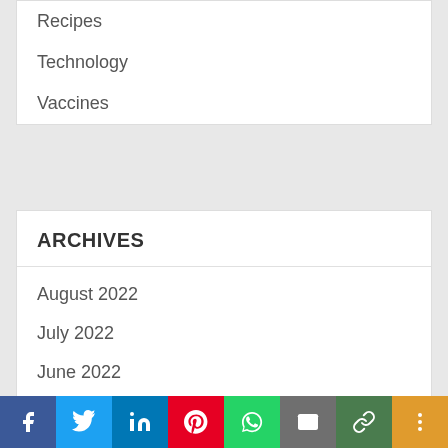Recipes
Technology
Vaccines
ARCHIVES
August 2022
July 2022
June 2022
May 2022
April 2022
March 2022
February 2022
January 2022
December 2021